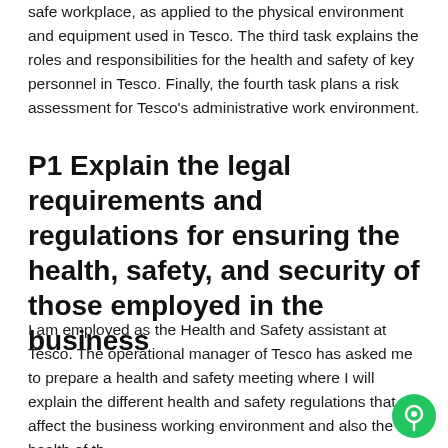safe workplace, as applied to the physical environment and equipment used in Tesco. The third task explains the roles and responsibilities for the health and safety of key personnel in Tesco. Finally, the fourth task plans a risk assessment for Tesco's administrative work environment.
P1 Explain the legal requirements and regulations for ensuring the health, safety, and security of those employed in the business
I am employed as the Health and Safety assistant at Tesco. The operational manager of Tesco has asked me to prepare a health and safety meeting where I will explain the different health and safety regulations that affect the business working environment and also the health of th